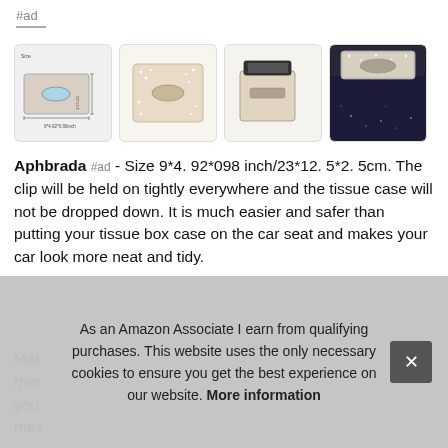#ad
[Figure (photo): Four product photos of a rhinestone car visor tissue box holder: size diagram, glamour front view, side/clip view, and installed-in-car view]
Aphbrada #ad - Size 9*4. 92*098 inch/23*12. 5*2. 5cm. The clip will be held on tightly everywhere and the tissue case will not be dropped down. It is much easier and safer than putting your tissue box case on the car seat and makes your car look more neat and tidy.
Mat... rhin... you... mas...
As an Amazon Associate I earn from qualifying purchases. This website uses the only necessary cookies to ensure you get the best experience on our website. More information